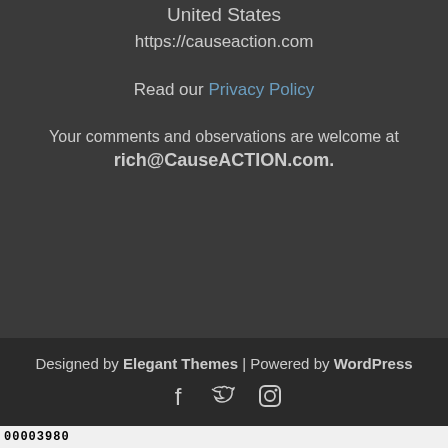United States
https://causeaction.com
Read our Privacy Policy
Your comments and observations are welcome at rich@CauseACTION.com.
Designed by Elegant Themes | Powered by WordPress
[Figure (other): Social media icons: Facebook, Twitter, Instagram]
00003980